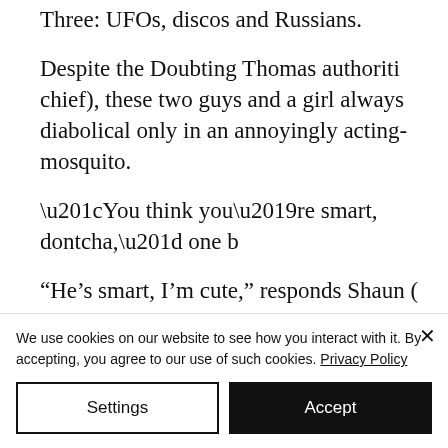Three: UFOs, discos and Russians.
Despite the Doubting Thomas authoriti chief), these two guys and a girl always diabolical only in an annoyingly acting- mosquito.
“You think you’re smart, dontcha,” one b
“He’s smart, I’m cute,” responds Shaun ( science has recently discovered that th
We use cookies on our website to see how you interact with it. By accepting, you agree to our use of such cookies. Privacy Policy
Settings
Accept